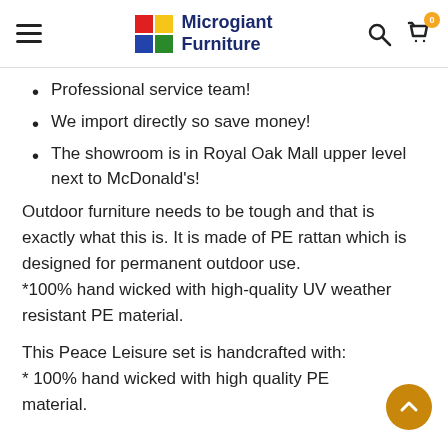Microgiant Furniture
Professional service team!
We import directly so save money!
The showroom is in Royal Oak Mall upper level next to McDonald's!
Outdoor furniture needs to be tough and that is exactly what this is. It is made of PE rattan which is designed for permanent outdoor use.
*100% hand wicked with high-quality UV weather resistant PE material.
This Peace Leisure set is handcrafted with:
* 100% hand wicked with high quality PE material.